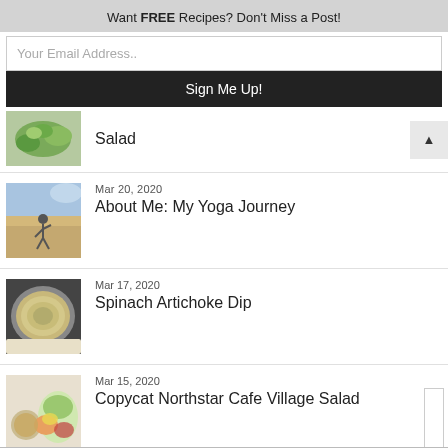Want FREE Recipes? Don't Miss a Post!
Your Email Address..
Sign Me Up!
[Figure (photo): Thumbnail image of a salad with green leaves]
Salad
[Figure (photo): Thumbnail image of a person doing yoga outdoors near ancient stone ruins]
Mar 20, 2020
About Me: My Yoga Journey
[Figure (photo): Thumbnail image of spinach artichoke dip in a cast iron skillet]
Mar 17, 2020
Spinach Artichoke Dip
[Figure (photo): Thumbnail image of a colorful grain bowl salad with dressing]
Mar 15, 2020
Copycat Northstar Cafe Village Salad